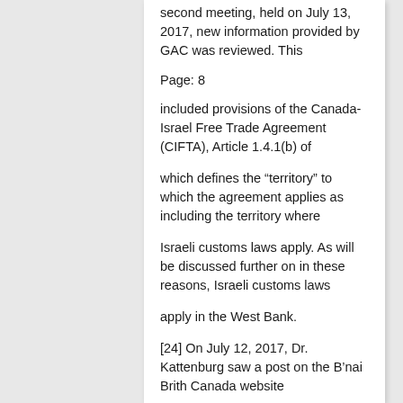second meeting, held on July 13, 2017, new information provided by GAC was reviewed. This
Page: 8
included provisions of the Canada-Israel Free Trade Agreement (CIFTA), Article 1.4.1(b) of
which defines the “territory” to which the agreement applies as including the territory where
Israeli customs laws apply. As will be discussed further on in these reasons, Israeli customs laws
apply in the West Bank.
[24] On July 12, 2017, Dr. Kattenburg saw a post on the B’nai Brith Canada website